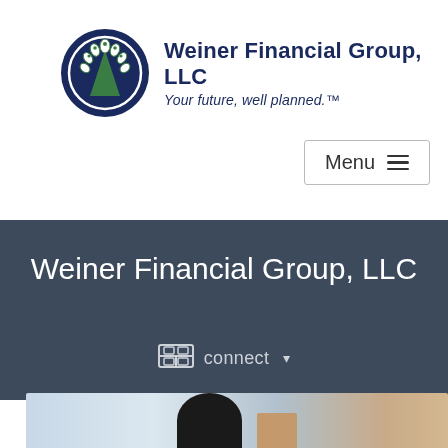[Figure (logo): Weiner Financial Group LLC logo: circular dark blue emblem with green tree and white leaf motifs, alongside company name and tagline]
Weiner Financial Group, LLC
connect ▾
Print
[Figure (photo): Partial photo of a person, cropped at bottom of page]